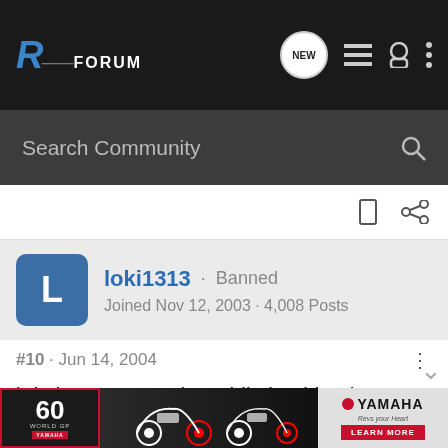R Forum - NEW
Search Community
loki1313 · Banned
Joined Nov 12, 2003 · 4,008 Posts
#10 · Jun 14, 2004
i do it every once in awhile but id rather not hurt the tranny since i dont the money to fix it :cheers
[Figure (photo): Yamaha advertisement banner showing motorcycles and '60 World GP Anniversary' branding with 'LEARN MORE' button]